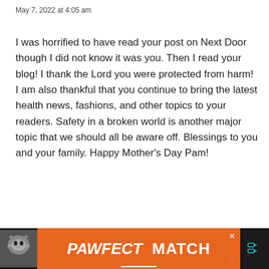May 7, 2022 at 4:05 am
I was horrified to have read your post on Next Door though I did not know it was you. Then I read your blog! I thank the Lord you were protected from harm! I am also thankful that you continue to bring the latest health news, fashions, and other topics to your readers. Safety in a broken world is another major topic that we should all be aware off. Blessings to you and your family. Happy Mother’s Day Pam!
Reply
[Figure (infographic): Advertisement banner at the bottom showing a cat image on the left, orange background with bold white text PAWFECT MATCH in the center, a close button X top right, a heart icon bottom right, and a teal audio/settings icon on the far right on dark background.]